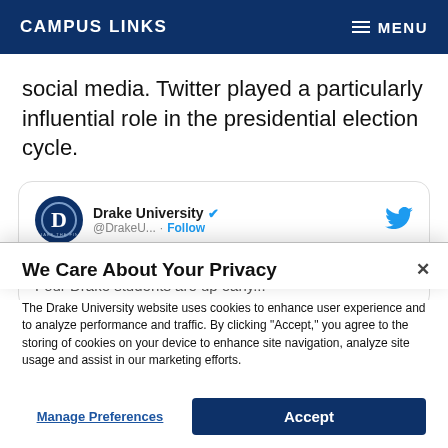CAMPUS LINKS   MENU
social media. Twitter played a particularly influential role in the presidential election cycle.
[Figure (screenshot): Embedded tweet from Drake University (@DrakeU...) with verified badge, Follow button, Twitter bird icon, and tweet text: "How'd the caucuses go last night? Four Drake students are up early..."]
We Care About Your Privacy
The Drake University website uses cookies to enhance user experience and to analyze performance and traffic. By clicking "Accept," you agree to the storing of cookies on your device to enhance site navigation, analyze site usage and assist in our marketing efforts.
Manage Preferences   Accept